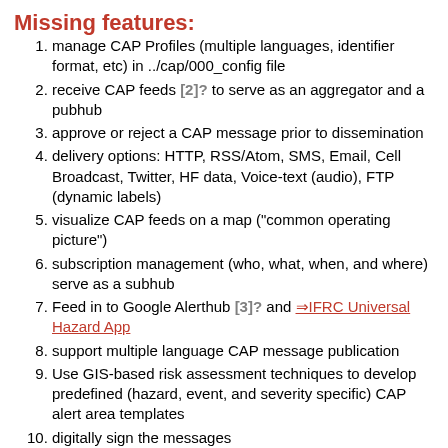Missing features:
manage CAP Profiles (multiple languages, identifier format, etc) in ../cap/000_config file
receive CAP feeds [2]? to serve as an aggregator and a pubhub
approve or reject a CAP message prior to dissemination
delivery options: HTTP, RSS/Atom, SMS, Email, Cell Broadcast, Twitter, HF data, Voice-text (audio), FTP (dynamic labels)
visualize CAP feeds on a map ("common operating picture")
subscription management (who, what, when, and where) serve as a subhub
Feed in to Google Alerthub [3]? and ⇒IFRC Universal Hazard App
support multiple language CAP message publication
Use GIS-based risk assessment techniques to develop predefined (hazard, event, and severity specific) CAP alert area templates
digitally sign the messages
UserGuidelines/Alerts